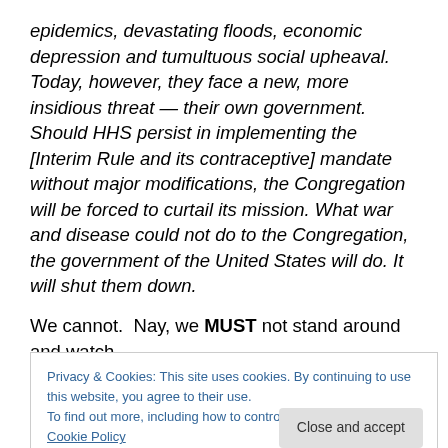epidemics, devastating floods, economic depression and tumultuous social upheaval. Today, however, they face a new, more insidious threat — their own government. Should HHS persist in implementing the [Interim Rule and its contraceptive] mandate without major modifications, the Congregation will be forced to curtail its mission. What war and disease could not do to the Congregation, the government of the United States will do. It will shut them down.
We cannot.  Nay, we MUST not stand around and watch
Privacy & Cookies: This site uses cookies. By continuing to use this website, you agree to their use.
To find out more, including how to control cookies, see here: Cookie Policy